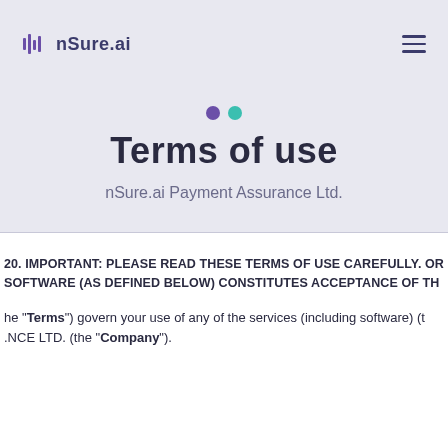nSure.ai
Terms of use
nSure.ai Payment Assurance Ltd.
20. IMPORTANT: PLEASE READ THESE TERMS OF USE CAREFULLY. OR... SOFTWARE (AS DEFINED BELOW) CONSTITUTES ACCEPTANCE OF TH...
he "Terms") govern your use of any of the services (including software) (t... .NCE LTD. (the "Company").